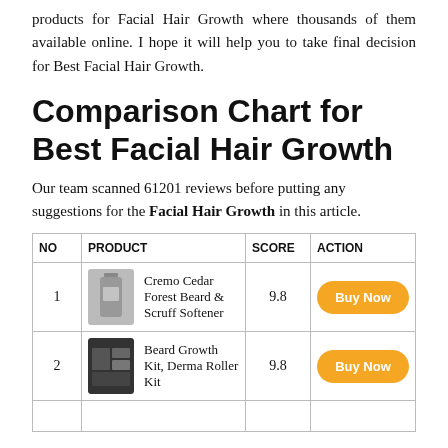products for Facial Hair Growth where thousands of them available online. I hope it will help you to take final decision for Best Facial Hair Growth.
Comparison Chart for Best Facial Hair Growth
Our team scanned 61201 reviews before putting any suggestions for the Facial Hair Growth in this article.
| NO | PRODUCT | SCORE | ACTION |
| --- | --- | --- | --- |
| 1 | Cremo Cedar Forest Beard & Scruff Softener | 9.8 | Buy Now |
| 2 | Beard Growth Kit, Derma Roller Kit | 9.8 | Buy Now |
|  |  |  |  |